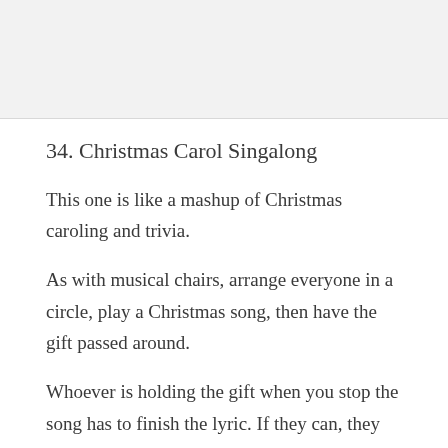34. Christmas Carol Singalong
This one is like a mashup of Christmas caroling and trivia.
As with musical chairs, arrange everyone in a circle, play a Christmas song, then have the gift passed around.
Whoever is holding the gift when you stop the song has to finish the lyric. If they can, they get to